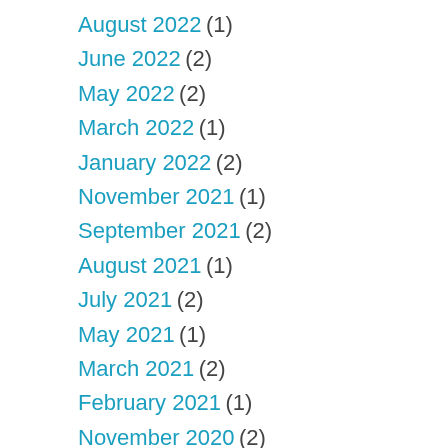August 2022 (1)
June 2022 (2)
May 2022 (2)
March 2022 (1)
January 2022 (2)
November 2021 (1)
September 2021 (2)
August 2021 (1)
July 2021 (2)
May 2021 (1)
March 2021 (2)
February 2021 (1)
November 2020 (2)
October 2020 (1)